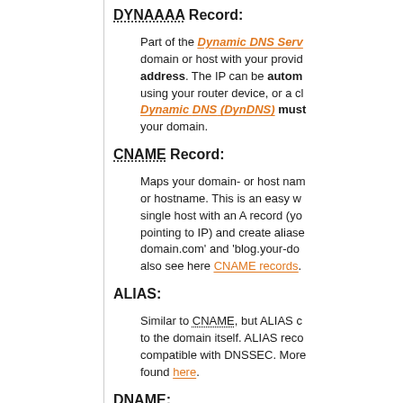DYNAAAA Record:
Part of the Dynamic DNS Serv... domain or host with your provid... address. The IP can be autom... using your router device, or a cl... Dynamic DNS (DynDNS) must ... your domain.
CNAME Record:
Maps your domain- or host nam... or hostname. This is an easy w... single host with an A record (yo... pointing to IP) and create aliase... domain.com' and 'blog.your-do... also see here CNAME records.
ALIAS:
Similar to CNAME, but ALIAS c... to the domain itself. ALIAS reco... compatible with DNSSEC. More... found here.
DNAME:
Similar to CNAME, but DNAME... subordinate hosts (subdomains...